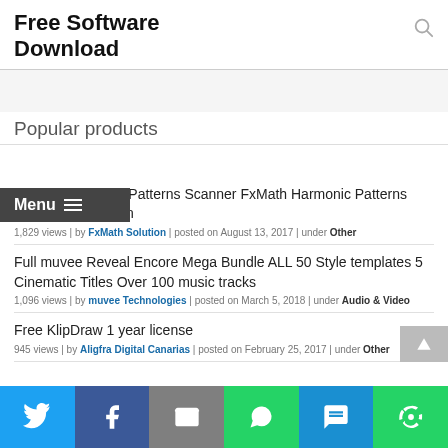Free Software Download
Popular products
FxMath Harmonic Patterns Scanner FxMath Harmonic Patterns Scanner Promotion
1,829 views | by FxMath Solution | posted on August 13, 2017 | under Other
Full muvee Reveal Encore Mega Bundle ALL 50 Style templates 5 Cinematic Titles Over 100 music tracks
1,096 views | by muvee Technologies | posted on March 5, 2018 | under Audio & Video
Free KlipDraw 1 year license
945 views | by Aligfra Digital Canarias | posted on February 25, 2017 | under Other